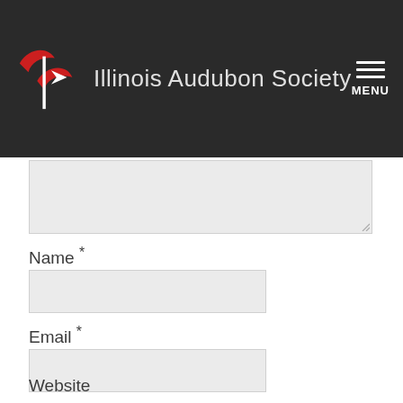[Figure (logo): Illinois Audubon Society logo with red bird/wing graphic and organization name in white text on dark background, with hamburger menu icon and MENU text on the right]
Name *
Email *
Website